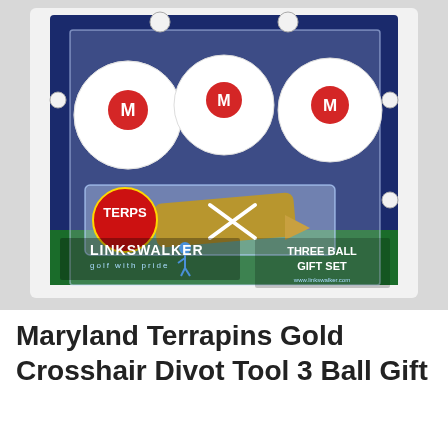[Figure (photo): Product photo of Maryland Terrapins Gold Crosshair Divot Tool 3 Ball Gift Set by LinksWalker. Three white golf balls with Maryland Terrapins (Testudo mascot and M logo) displayed in a clear plastic package with a gold crosshair divot tool featuring a red TERPS ball marker. The packaging shows the LinksWalker 'golf with pride' branding and 'THREE BALL GIFT SET' text on a dark blue and green background.]
Maryland Terrapins Gold Crosshair Divot Tool 3 Ball Gift